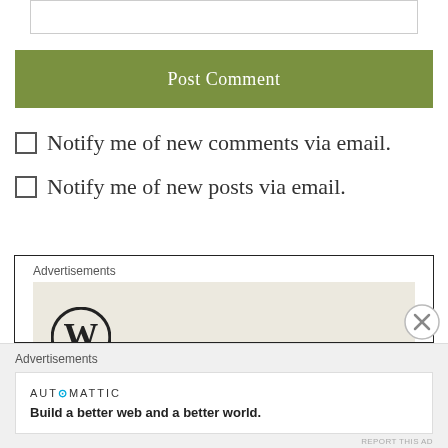[Figure (screenshot): Text input field (comment box) at top of page]
Post Comment
Notify me of new comments via email.
Notify me of new posts via email.
Advertisements
[Figure (logo): WordPress logo (circle with W) on beige background inside advertisements box]
Advertisements
AUTOMATTIC
Build a better web and a better world.
REPORT THIS AD